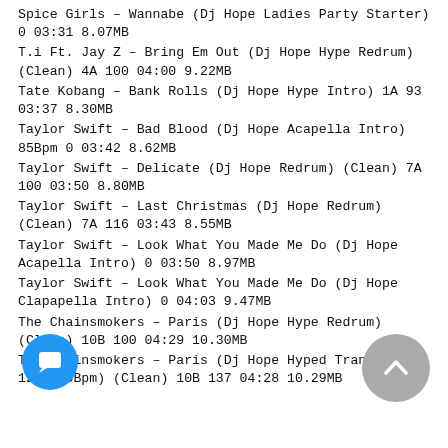Spice Girls – Wannabe (Dj Hope Ladies Party Starter) 0 03:31 8.07MB
T.i Ft. Jay Z – Bring Em Out (Dj Hope Hype Redrum) (Clean) 4A 100 04:00 9.22MB
Tate Kobang – Bank Rolls (Dj Hope Hype Intro) 1A 93 03:37 8.30MB
Taylor Swift – Bad Blood (Dj Hope Acapella Intro) 85Bpm 0 03:42 8.62MB
Taylor Swift – Delicate (Dj Hope Redrum) (Clean) 7A 100 03:50 8.80MB
Taylor Swift – Last Christmas (Dj Hope Redrum) (Clean) 7A 116 03:43 8.55MB
Taylor Swift – Look What You Made Me Do (Dj Hope Acapella Intro) 0 03:50 8.97MB
Taylor Swift – Look What You Made Me Do (Dj Hope Clapapella Intro) 0 04:03 9.47MB
The Chainsmokers – Paris (Dj Hope Hype Redrum) (Clean) 10B 100 04:29 10.30MB
The Chainsmokers – Paris (Dj Hope Hyped Transition 128-100Bpm) (Clean) 10B 137 04:28 10.29MB